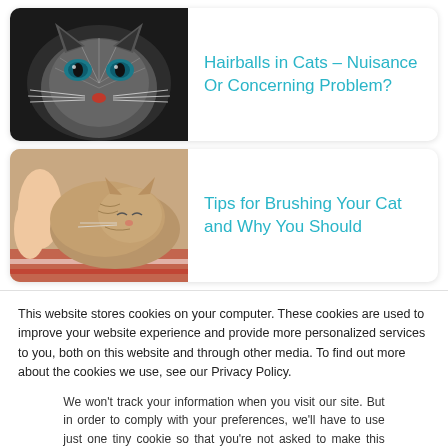[Figure (photo): Close-up artistic photo of a grey cat with blue eyes and a red nose against dark background]
Hairballs in Cats – Nuisance Or Concerning Problem?
[Figure (photo): Photo of a tabby cat being held, eyes closed, resting on a striped surface]
Tips for Brushing Your Cat and Why You Should
This website stores cookies on your computer. These cookies are used to improve your website experience and provide more personalized services to you, both on this website and through other media. To find out more about the cookies we use, see our Privacy Policy.
We won't track your information when you visit our site. But in order to comply with your preferences, we'll have to use just one tiny cookie so that you're not asked to make this choice again.
Accept
Decline